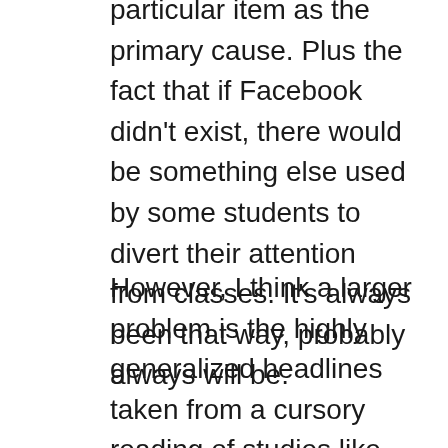particular item as the primary cause. Plus the fact that if Facebook didn't exist, there would be something else used by some students to divert their attention from classes. It's always been that way, probably always will be.
However, I think a larger problem is the highly generalized headlines taken from a cursory reading of studies like this. Many people will see or hear the dozen or so words summarzing the